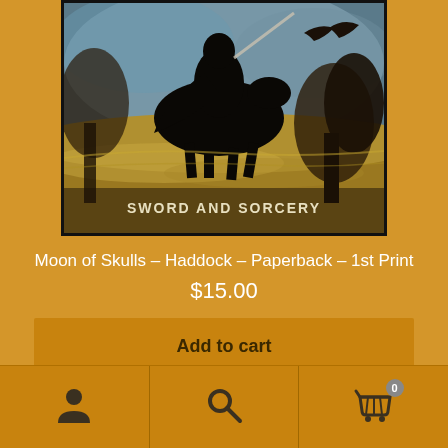[Figure (illustration): Book cover of 'Sword and Sorcery' showing dark fantasy artwork with a black silhouetted warrior on horseback in a dramatic swirling landscape, painted in dark earthy tones. Title text 'SWORD AND SORCERY' visible at bottom of cover.]
Moon of Skulls – Haddock – Paperback – 1st Print
$15.00
Add to cart